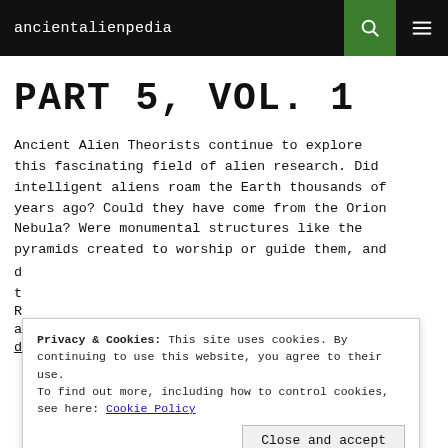ancientalienpedia
PART 5, VOL. 1
Ancient Alien Theorists continue to explore this fascinating field of alien research. Did intelligent aliens roam the Earth thousands of years ago? Could they have come from the Orion Nebula? Were monumental structures like the pyramids created to worship or guide them, and documented in the Hebrew Bible, Egyptian
Privacy & Cookies: This site uses cookies. By continuing to use this website, you agree to their use. To find out more, including how to control cookies, see here: Cookie Policy